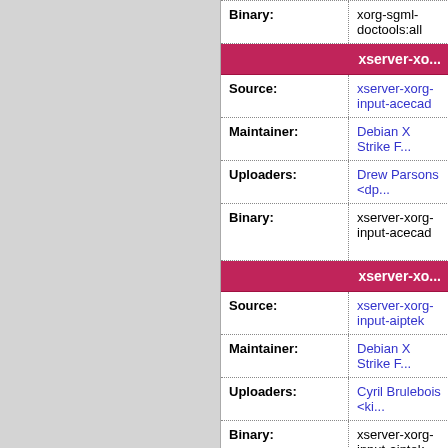| Field | Value |
| --- | --- |
| Binary: | xorg-sgml-doctools:all |
| xserver-xo... |  |
| Source: | xserver-xorg-input-acecad |
| Maintainer: | Debian X Strike F... |
| Uploaders: | Drew Parsons <dp... |
| Binary: | xserver-xorg-input-acecad |
| xserver-xo... |  |
| Source: | xserver-xorg-input-aiptek |
| Maintainer: | Debian X Strike F... |
| Uploaders: | Cyril Brulebois <ki... |
| Binary: | xserver-xorg-input-aiptek |
| xserver-xorg-... |  |